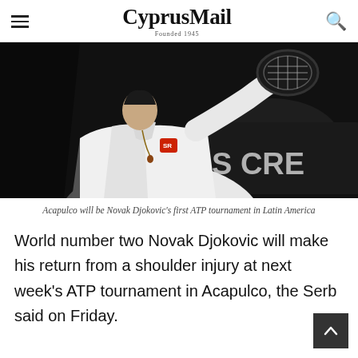CyprusMail — Founded 1945
[Figure (photo): Tennis player (Novak Djokovic) in white outfit mid-swing with racket, dark background with partial sponsor text 'S CRE']
Acapulco will be Novak Djokovic's first ATP tournament in Latin America
World number two Novak Djokovic will make his return from a shoulder injury at next week's ATP tournament in Acapulco, the Serb said on Friday.